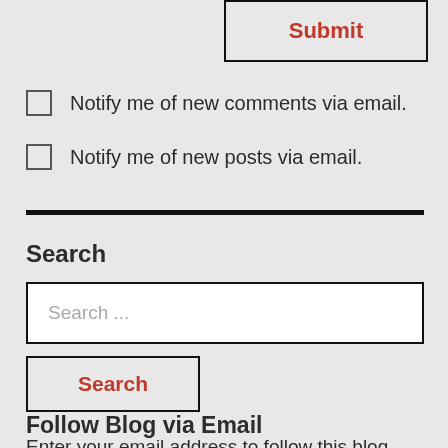Submit
Notify me of new comments via email.
Notify me of new posts via email.
Search
Search ...
Search
Follow Blog via Email
Enter your email address to follow this blog and